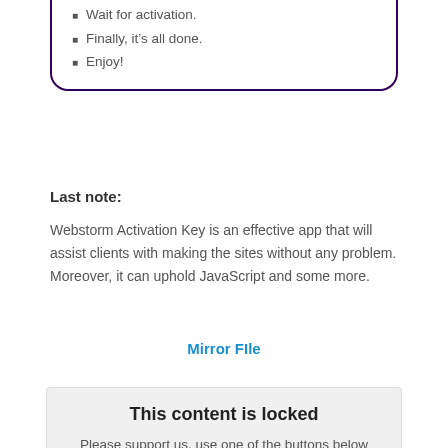Wait for activation.
Finally, it's all done.
Enjoy!
Last note:
Webstorm Activation Key is an effective app that will assist clients with making the sites without any problem. Moreover, it can uphold JavaScript and some more.
Mirror FIle
This content is locked
Please support us, use one of the buttons below to unlock the content.
[Figure (infographic): Social share buttons: tweet button (blue, Twitter bird icon) and like us button (dark blue, Facebook f icon)]